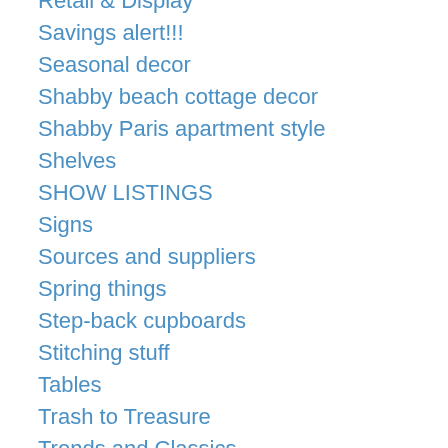Retail & Display
Savings alert!!!
Seasonal decor
Shabby beach cottage decor
Shabby Paris apartment style
Shelves
SHOW LISTINGS
Signs
Sources and suppliers
Spring things
Step-back cupboards
Stitching stuff
Tables
Trash to Treasure
Trends and Classics
Tutorials
Uncategorized
UPcycled
Valentine decor & ideas
VINTAGE LOVE